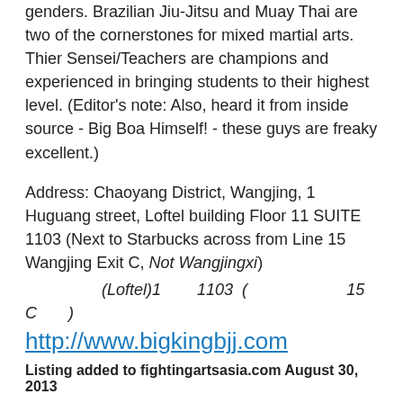genders. Brazilian Jiu-Jitsu and Muay Thai are two of the cornerstones for mixed martial arts. Thier Sensei/Teachers are champions and experienced in bringing students to their highest level. (Editor's note: Also, heard it from inside source - Big Boa Himself! - these guys are freaky excellent.)
Address: Chaoyang District, Wangjing, 1 Huguang street, Loftel building Floor 11 SUITE 1103 (Next to Starbucks across from Line 15 Wangjing Exit C, Not Wangjingxi)
(Loftel)1        1103  (                    15 C      )
http://www.bigkingbjj.com
Listing added to fightingartsasia.com August 30, 2013
Black Tiger Gym
This is arguably one of the finest Muay Thai and MMA training centers in China. It is also one location where